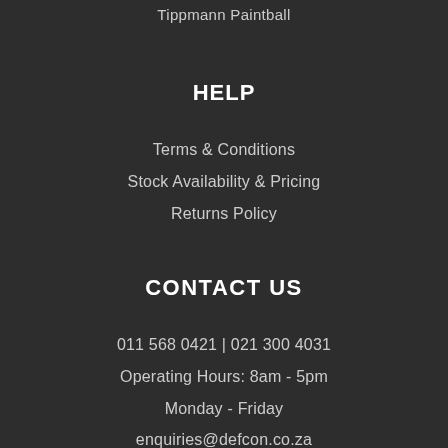Tippmann Paintball
HELP
Terms & Conditions
Stock Availability & Pricing
Returns Policy
CONTACT US
011 568 0421 | 021 300 4031
Operating Hours: 8am - 5pm
Monday - Friday
enquiries@defcon.co.za